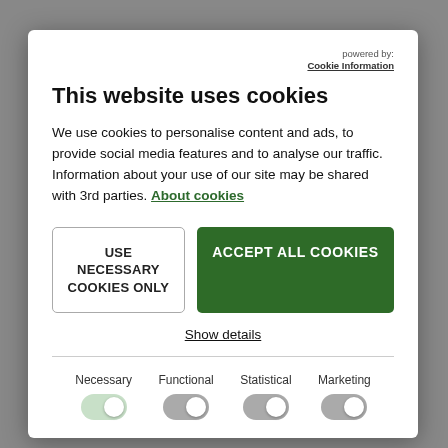powered by: Cookie Information
This website uses cookies
We use cookies to personalise content and ads, to provide social media features and to analyse our traffic. Information about your use of our site may be shared with 3rd parties. About cookies
USE NECESSARY COOKIES ONLY
ACCEPT ALL COOKIES
Show details
Necessary
Functional
Statistical
Marketing